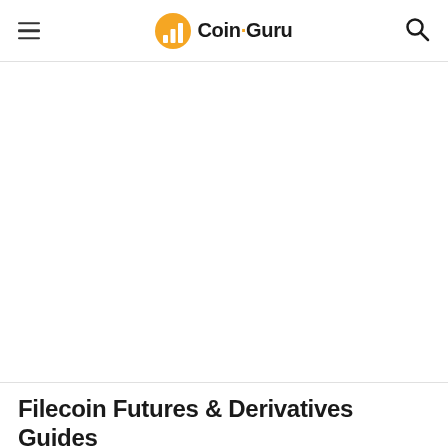Coin-Guru
[Figure (other): Advertisement or blank content area below the site header]
Filecoin Futures & Derivatives Guides